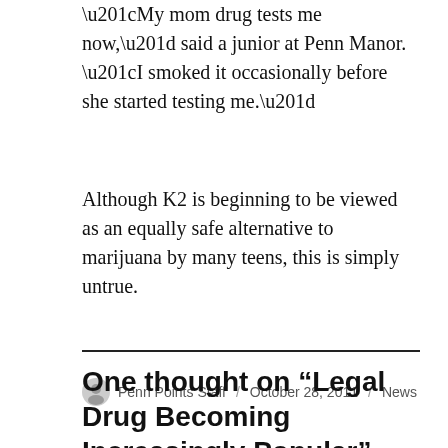“My mom drug tests me now,” said a junior at Penn Manor. “I smoked it occasionally before she started testing me.”
Although K2 is beginning to be viewed as an equally safe alternative to marijuana by many teens, this is simply untrue.
Penn Points Staff / October 28, 2011 / News
One thought on “Legal Drug Becoming Increasingly Popular”